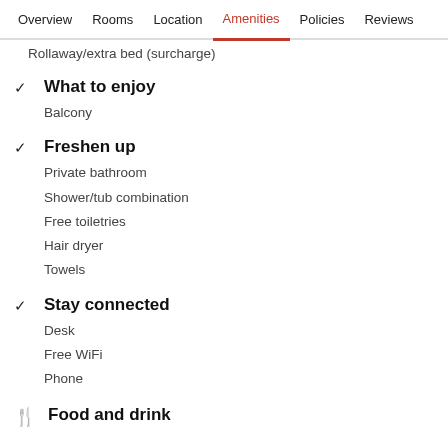Overview  Rooms  Location  Amenities  Policies  Reviews
Rollaway/extra bed (surcharge)
What to enjoy
Balcony
Freshen up
Private bathroom
Shower/tub combination
Free toiletries
Hair dryer
Towels
Stay connected
Desk
Free WiFi
Phone
Food and drink